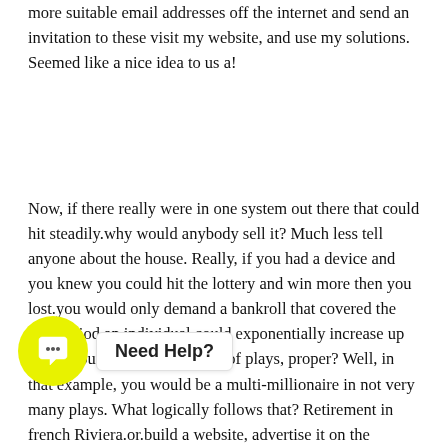more suitable email addresses off the internet and send an invitation to these visit my website, and use my solutions. Seemed like a nice idea to us a!
Now, if there really were in one system out there that could hit steadily.why would anybody sell it? Much less tell anyone about the house. Really, if you had a device and you knew you could hit the lottery and win more then you lost.you would only demand a bankroll that covered the loss period an individual could exponentially increase up throughout the next a handful of plays, proper? Well, in that example, you would be a multi-millionaire in not very many plays. What logically follows that? Retirement in french Riviera.or.build a website, advertise it on the internet and sell it for $30? Hmmmm. Additionally is the delusion that many Pick 3 lottery players live underneath. If you p... t. s not all hopeless; there is light coming I promise, but before you can get there, you are related a reality check.
[Figure (other): Chat widget overlay with yellow circular icon containing a chat bubble symbol and 'Need Help?' label]